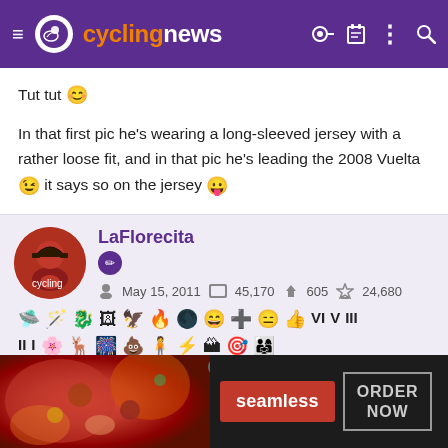cyclingnews
Tut tut 😊
In that first pic he's wearing a long-sleeved jersey with a rather loose fit, and in that pic he's leading the 2008 Vuelta 😉 it says so on the jersey 😛
LaFlorecita — May 15, 2011 — 45,170 — 605 — 24,680
[Figure (screenshot): Seamless food delivery advertisement banner with pizza image, Seamless brand name in red, and ORDER NOW button]
Seamless — ORDER NOW